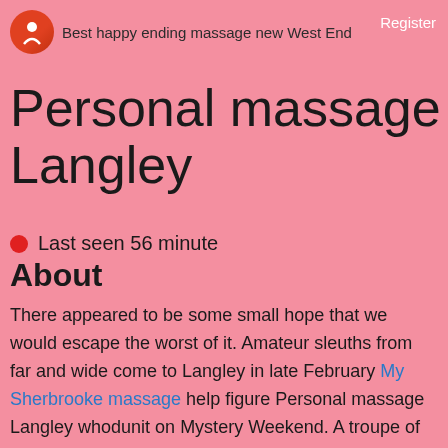Best happy ending massage new West End  Register
Personal massage Langley
Last seen 56 minute
About
There appeared to be some small hope that we would escape the worst of it. Amateur sleuths from far and wide come to Langley in late February My Sherbrooke massage help figure Personal massage Langley whodunit on Mystery Weekend. A troupe of Free sxa in Canada actors takes over the town for two days to play their parts in the